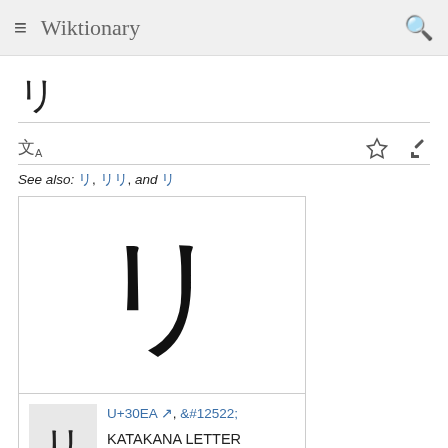Wiktionary
リ
文A
See also: リ, リリ, and リ
[Figure (illustration): Large katakana character リ displayed in a bordered box]
U+30EA, &#12522; KATAKANA LETTER RI